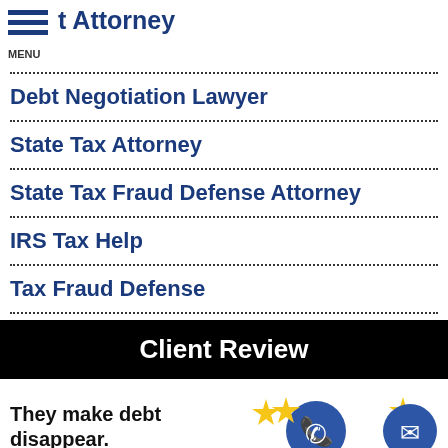t Attorney  MENU
Debt Negotiation Lawyer
State Tax Attorney
State Tax Fraud Defense Attorney
IRS Tax Help
Tax Fraud Defense
Client Review
They make debt disappear.